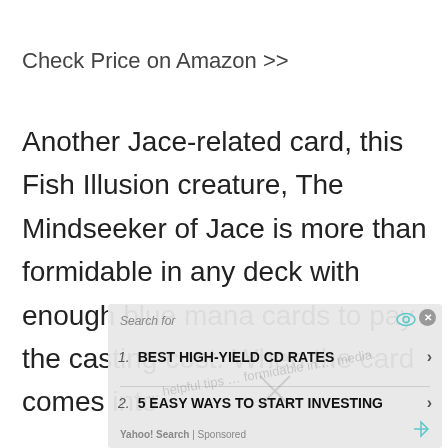Check Price on Amazon >>
Another Jace-related card, this Fish Illusion creature, The Mindseeker of Jace is more than formidable in any deck with enough blue mana cards to pay the casting cost. When the card comes into
[Figure (screenshot): Yahoo Search sponsored ad overlay showing 'Search for' with two results: 1. BEST HIGH-YIELD CD RATES, 2. 5 EASY WAYS TO START INVESTING, with Yahoo! Search | Sponsored footer]